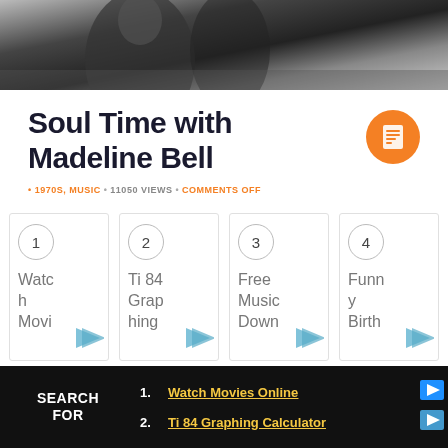[Figure (photo): Black and white photo strip at the top of the page, partially visible]
Soul Time with Madeline Bell
• 1970S, MUSIC • 11050 VIEWS • COMMENTS OFF
[Figure (infographic): Four numbered cards: 1-Watch Movi, 2-Ti 84 Graphing, 3-Free Music Down, 4-Funny Birth, each with a blue arrow button]
SEARCH FOR
1. Watch Movies Online
2. Ti 84 Graphing Calculator